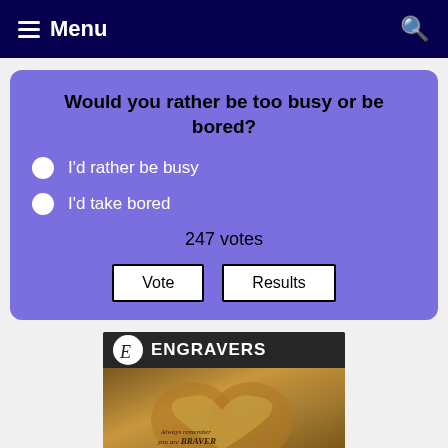Menu
Would you rather be too busy or be bored?
I'd rather be busy
I'd take bored
247 votes
[Figure (screenshot): Engravers advertisement showing wooden heart-shaped box with engraved text 'Always remember you are BRAVER than you BELIEVE']